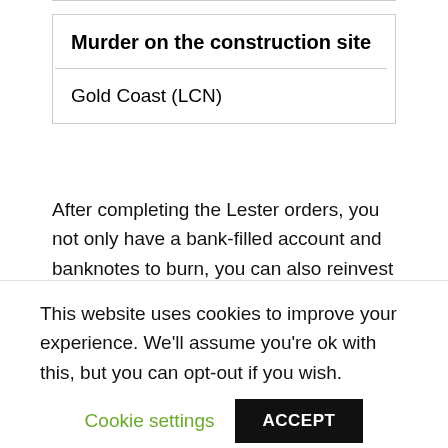| Murder on the construction site |
| Gold Coast (LCN) |
After completing the Lester orders, you not only have a bank-filled account and banknotes to burn, you can also reinvest the coal. You either go back to the stock exchange and invest in it – for which there is no longer a guarantee – or you buy all kinds of buildings in the city, from the restaurant to the golf club that breaks all boundaries.
This website uses cookies to improve your experience. We'll assume you're ok with this, but you can opt-out if you wish.